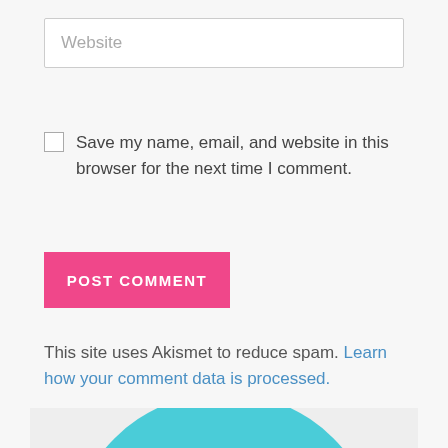Website
Save my name, email, and website in this browser for the next time I comment.
POST COMMENT
This site uses Akismet to reduce spam. Learn how your comment data is processed.
[Figure (photo): A blonde woman with blue-green eyes looking upward with an expression of curiosity or surprise, against a teal/cyan circular background, on a light gray panel background.]